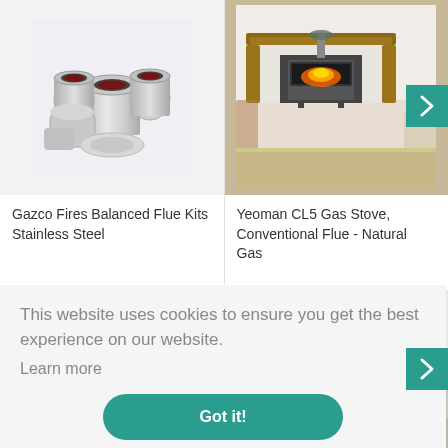[Figure (photo): Gazco Fires Balanced Flue Kits Stainless Steel - photo of stainless steel flue pipe components grouped together]
[Figure (photo): Yeoman CL5 Gas Stove, Conventional Flue - Natural Gas - photo of a gas stove fireplace in a living room setting with wooden mantelpiece]
Gazco Fires Balanced Flue Kits Stainless Steel
Yeoman CL5 Gas Stove, Conventional Flue - Natural Gas
This website uses cookies to ensure you get the best experience on our website. Learn more
Got it!
[Figure (photo): Bottom left partial image - appears to be a bathroom or interior]
[Figure (photo): Bottom right partial image - appears to be an interior with plants]